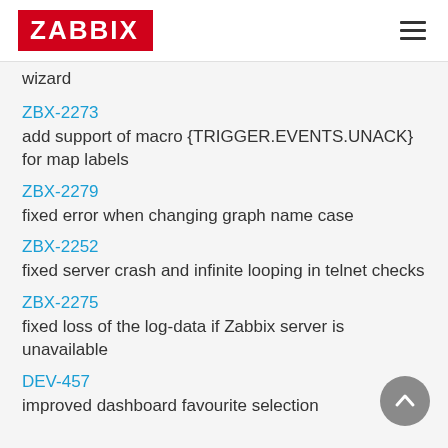ZABBIX
wizard
ZBX-2273
add support of macro {TRIGGER.EVENTS.UNACK} for map labels
ZBX-2279
fixed error when changing graph name case
ZBX-2252
fixed server crash and infinite looping in telnet checks
ZBX-2275
fixed loss of the log-data if Zabbix server is unavailable
DEV-457
improved dashboard favourite selection